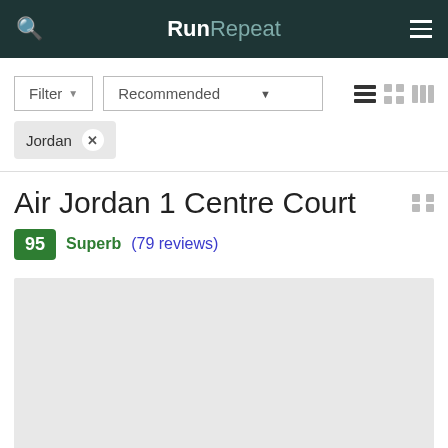RunRepeat
Filter · Recommended
Jordan ×
Air Jordan 1 Centre Court
95 Superb (79 reviews)
[Figure (photo): Product image placeholder (light gray rectangle)]